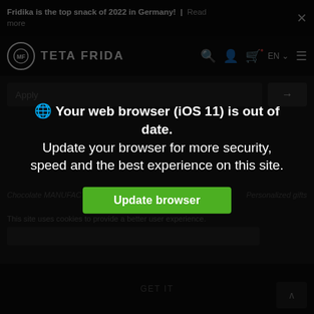Fridika is the top snack of 2022 in Germany! | Read more
[Figure (screenshot): TETA FRIDA website header with logo, search icon, account icon, cart icon with badge, EN language selector, and menu icon]
Apply
🌐 Your web browser (iOS 11) is out of date. Update your browser for more security, speed and the best experience on this site.
Update browser
Chocolate MANUFACTURE — Personalized gifts
This site uses cookies to provide a better user experience.
GET IT